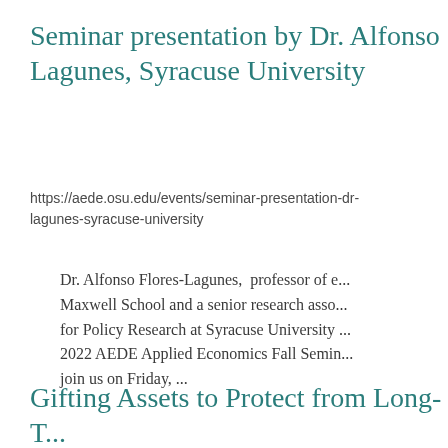Seminar presentation by Dr. Alfonso Lagunes, Syracuse University
https://aede.osu.edu/events/seminar-presentation-dr-lagunes-syracuse-university
Dr. Alfonso Flores-Lagunes,  professor of e... Maxwell School and a senior research asso... for Policy Research at Syracuse University ... 2022 AEDE Applied Economics Fall Semin... join us on Friday, ...
Gifting Assets to Protect from Long-T... Costs